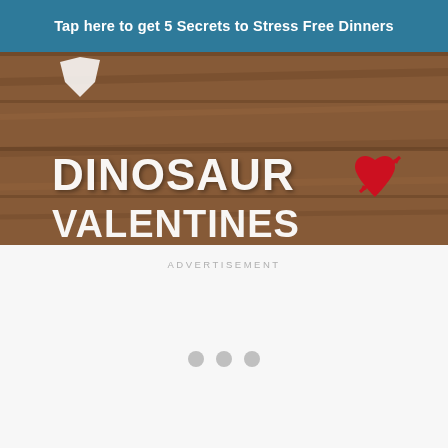Tap here to get 5 Secrets to Stress Free Dinners
[Figure (photo): Promotional banner image with wooden background showing text 'DINOSAUR VALENTINES' in large white letters with a red heart and arrow graphic]
ADVERTISEMENT
[Figure (other): Advertisement loading area with three gray dots indicating loading spinner]